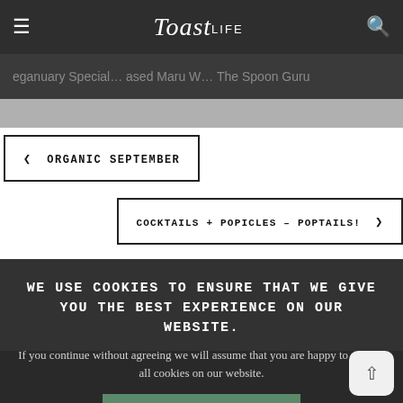Toast Life
Veganuary Special… Used Maru W… The Spoon Guru
← ORGANIC SEPTEMBER
COCKTAILS + POPICLES – POPTAILS! →
WE USE COOKIES TO ENSURE THAT WE GIVE YOU THE BEST EXPERIENCE ON OUR WEBSITE.
If you continue without agreeing we will assume that you are happy to receive all cookies on our website.
I AGREE TO USE COOKIES
VIEW PRIVACY POLICY
Bringing Ev… Occasi…